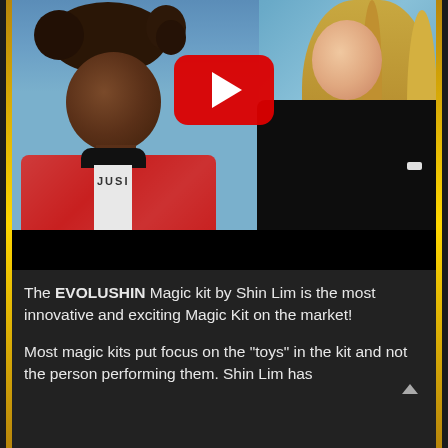[Figure (photo): Video thumbnail showing two women on a TV talk show set with a blue background. Left: a Black woman with curly hair wearing a red floral jacket. Right: a blonde woman in a dark jacket. A large red YouTube play button is overlaid in the center. A black bar appears at the bottom of the thumbnail.]
The EVOLUSHIN Magic kit by Shin Lim is the most innovative and exciting Magic Kit on the market!
Most magic kits put focus on the "toys" in the kit and not the person performing them. Shin Lim has